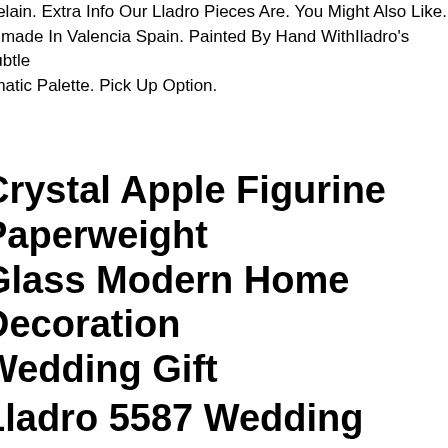rcelain. Extra Info Our Lladro Pieces Are. You Might Also Like. ndmade In Valencia Spain. Painted By Hand WithIladro's Subtle omatic Palette. Pick Up Option.
Crystal Apple Figurine Paperweight Glass Modern Home Decoration Wedding Gift
Lladro 5587 Wedding Cake - Perfect Condition
ro 5587wedding Cakemint Condition Glossyfinish 14 14 X 7 ssue Year 1989 Retired 1996no Marks, No Chips, No Cracks, No atches, No Repairs.1st Quality Piece With Full Lladro Markings On Bottom Including The Blue Lladro Tulip Floweri Do Not Have Th